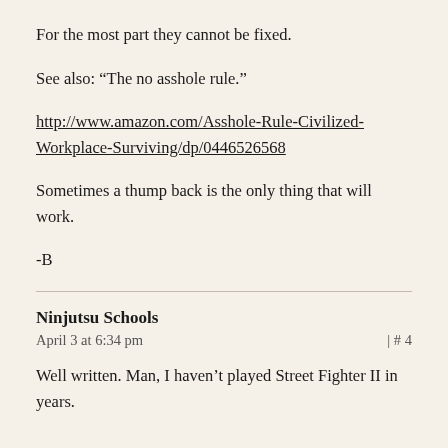For the most part they cannot be fixed.
See also: “The no asshole rule.”
http://www.amazon.com/Asshole-Rule-Civilized-Workplace-Surviving/dp/0446526568
Sometimes a thump back is the only thing that will work.
-B
Ninjutsu Schools
April 3 at 6:34 pm | # 4
Well written. Man, I haven’t played Street Fighter II in years.